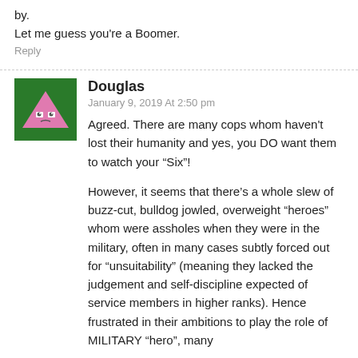by.
Let me guess you're a Boomer.
Reply
Douglas
January 9, 2019 At 2:50 pm
Agreed. There are many cops whom haven't lost their humanity and yes, you DO want them to watch your “Six”!
However, it seems that there’s a whole slew of buzz-cut, bulldog jowled, overweight “heroes” whom were assholes when they were in the military, often in many cases subtly forced out for “unsuitability” (meaning they lacked the judgement and self-discipline expected of service members in higher ranks). Hence frustrated in their ambitions to play the role of MILITARY “hero”, many